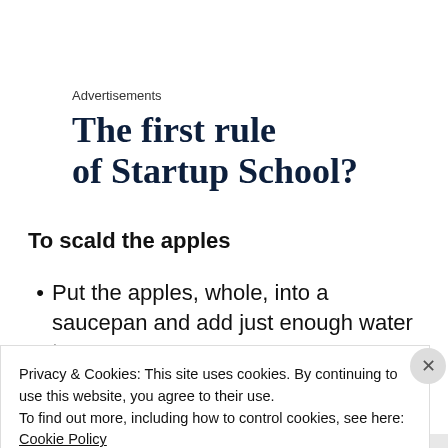Advertisements
The first rule of Startup School?
To scald the apples
Put the apples, whole, into a saucepan and add just enough water to cover.
Privacy & Cookies: This site uses cookies. By continuing to use this website, you agree to their use.
To find out more, including how to control cookies, see here: Cookie Policy
Close and accept